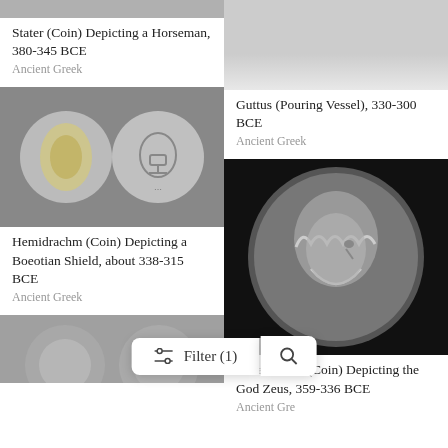[Figure (photo): Top of left column - partial grey image (cropped)]
Stater (Coin) Depicting a Horseman, 380-345 BCE
Ancient Greek
[Figure (photo): Top of right column - partial grey vessel image (cropped)]
Guttus (Pouring Vessel), 330-300 BCE
Ancient Greek
[Figure (photo): Hemidrachm coin showing Boeotian shield on grey background]
Hemidrachm (Coin) Depicting a Boeotian Shield, about 338-315 BCE
Ancient Greek
[Figure (photo): Tetradrachm coin depicting the God Zeus on black background]
Tetradrachm (Coin) Depicting the God Zeus, 359-336 BCE
Ancient Greek
[Figure (screenshot): Filter (1) and search button overlay at bottom center]
[Figure (photo): Bottom of left column - partial coin image (cropped)]